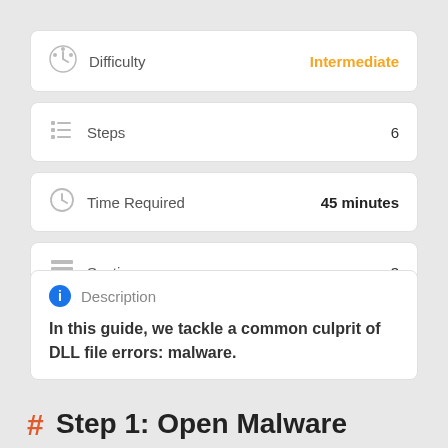| Icon | Label | Value |
| --- | --- | --- |
| difficulty-icon | Difficulty | Intermediate |
| steps-icon | Steps | 6 |
| time-icon | Time Required | 45 minutes |
| sections-icon | Sections | 3 |
Description
In this guide, we tackle a common culprit of DLL file errors: malware.
Step 1: Open Malware